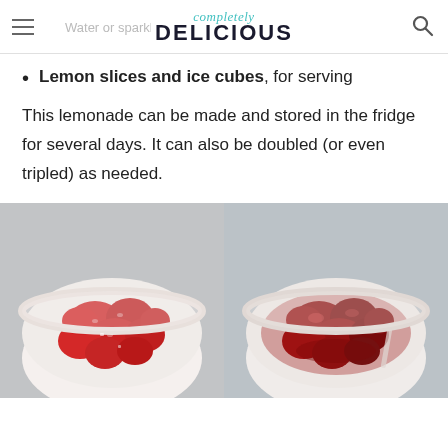completely DELICIOUS
Lemon slices and ice cubes, for serving
This lemonade can be made and stored in the fridge for several days. It can also be doubled (or even tripled) as needed.
[Figure (photo): Two side-by-side photos of white bowls containing strawberries: left bowl shows fresh chopped strawberries, right bowl shows macerated/cooked strawberries in syrup]
[Figure (photo): Bottom portions of the two strawberry bowls, partially cut off, with a close button in the lower right corner]